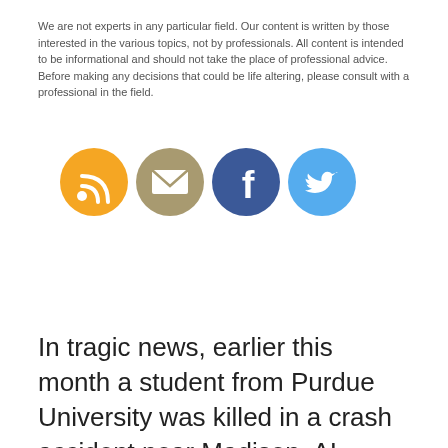We are not experts in any particular field. Our content is written by those interested in the various topics, not by professionals. All content is intended to be informational and should not take the place of professional advice. Before making any decisions that could be life altering, please consult with a professional in the field.
[Figure (other): Four circular social media icon buttons: RSS (orange), Email/envelope (tan/olive), Facebook (blue), Twitter (light blue)]
In tragic news, earlier this month a student from Purdue University was killed in a crash accident near Madison, AL. According to WISH TV, Alabama police officers arrived on